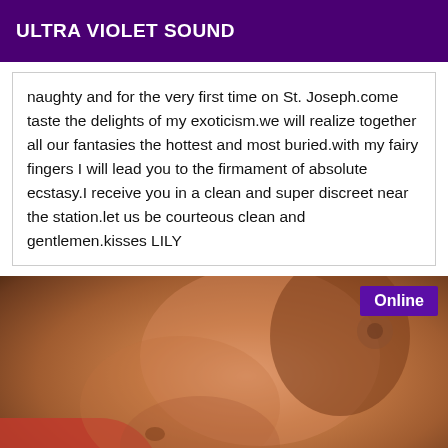ULTRA VIOLET SOUND
naughty and for the very first time on St. Joseph.come taste the delights of my exoticism.we will realize together all our fantasies the hottest and most buried.with my fairy fingers I will lead you to the firmament of absolute ecstasy.I receive you in a clean and super discreet near the station.let us be courteous clean and gentlemen.kisses LILY
[Figure (photo): Close-up photo of a person's torso/body with skin tones, warm brown skin, with a pink/red fabric visible at the lower left. An 'Online' badge is overlaid in the upper right corner.]